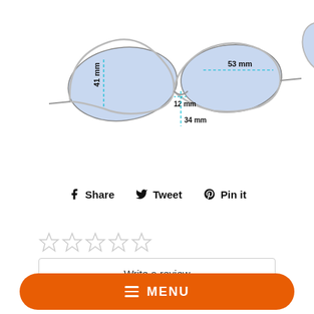[Figure (engineering-diagram): Technical diagram of sunglasses showing front view with measurements: 41 mm (lens height), 53 mm (lens width), 12 mm (bridge), 34 mm (nose bridge height); and side/top view showing 143 mm (temple length) and 140 mm (total width).]
Share  Tweet  Pin it
[Figure (other): Five empty star rating icons]
Write a review
≡ MENU